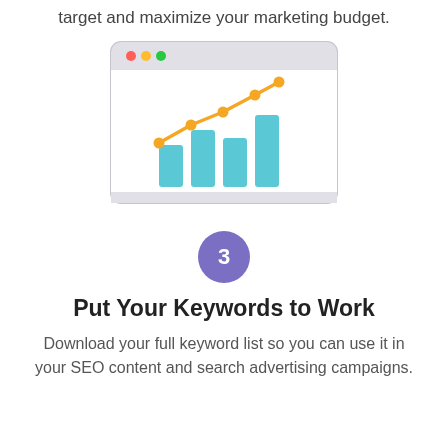target and maximize your marketing budget.
[Figure (illustration): Browser window illustration with a bar chart and an orange rising line chart inside it, on a light gray background with colored dots in the title bar.]
3
Put Your Keywords to Work
Download your full keyword list so you can use it in your SEO content and search advertising campaigns.